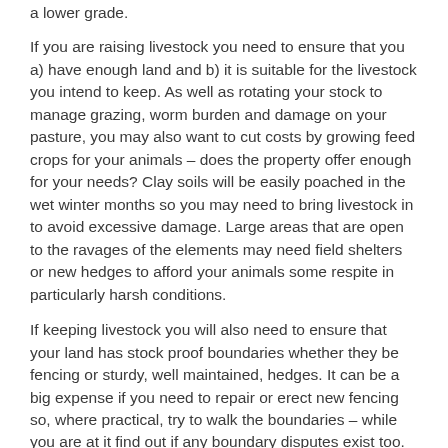a lower grade.
If you are raising livestock you need to ensure that you a) have enough land and b) it is suitable for the livestock you intend to keep. As well as rotating your stock to manage grazing, worm burden and damage on your pasture, you may also want to cut costs by growing feed crops for your animals – does the property offer enough for your needs? Clay soils will be easily poached in the wet winter months so you may need to bring livestock in to avoid excessive damage. Large areas that are open to the ravages of the elements may need field shelters or new hedges to afford your animals some respite in particularly harsh conditions.
If keeping livestock you will also need to ensure that your land has stock proof boundaries whether they be fencing or sturdy, well maintained, hedges. It can be a big expense if you need to repair or erect new fencing so, where practical, try to walk the boundaries – while you are at it find out if any boundary disputes exist too.
If you want to produce 'organic' produce you must be registered with one of the UK's organic control bodies and the land and your farming methods need to meet very strict EU guidelines. If land is being sold as organic you should check that it is properly registered – it will be inspected once a year to ensure that it still complies so find out when the last inspection was. Land may not initially meet organic requirements and it could take some time and effort to make it comply so do your homework before committing if you particularly want to take this route.